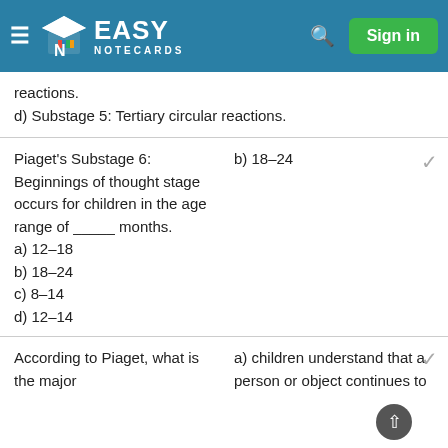Easy Notecards — Sign in
reactions.
d) Substage 5: Tertiary circular reactions.
Piaget's Substage 6: Beginnings of thought stage occurs for children in the age range of _____ months.
a) 12–18
b) 18–24
c) 8–14
d) 12–14
b) 18–24
According to Piaget, what is the major
a) children understand that a person or object continues to